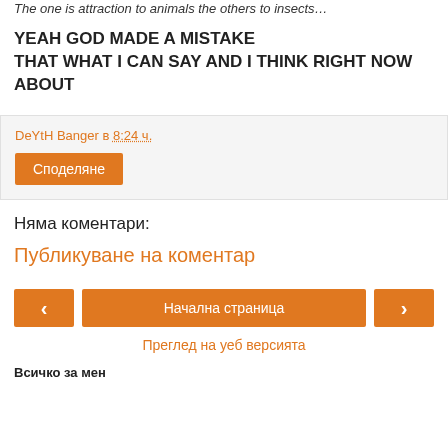The one is attraction to animals the others to insects…
YEAH GOD MADE A MISTAKE THAT WHAT I CAN SAY AND I THINK RIGHT NOW ABOUT
DeYtH Banger в 8:24 ч.
Споделяне
Няма коментари:
Публикуване на коментар
‹  Начална страница  ›
Преглед на уеб версията
Всичко за мен